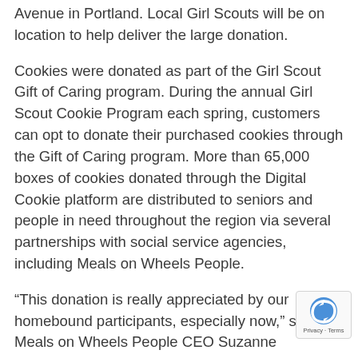Avenue in Portland. Local Girl Scouts will be on location to help deliver the large donation.
Cookies were donated as part of the Girl Scout Gift of Caring program. During the annual Girl Scout Cookie Program each spring, customers can opt to donate their purchased cookies through the Gift of Caring program. More than 65,000 boxes of cookies donated through the Digital Cookie platform are distributed to seniors and people in need throughout the region via several partnerships with social service agencies, including Meals on Wheels People.
“This donation is really appreciated by our homebound participants, especially now,” said Meals on Wheels People CEO Suzanne Washington. “So many of those we serve are continuing to stay at home more than ever before and had no way to access a traditional Girl Scout Cookie sale. And, a